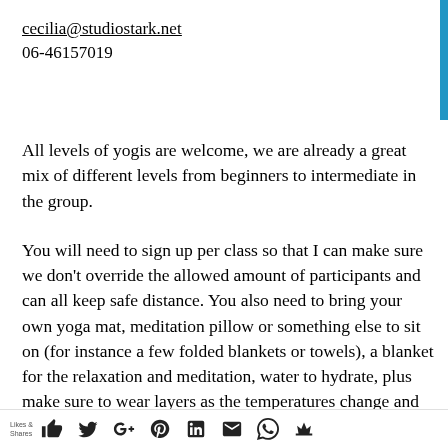cecilia@studiostark.net
06-46157019
All levels of yogis are welcome, we are already a great mix of different levels from beginners to intermediate in the group.
You will need to sign up per class so that I can make sure we don't override the allowed amount of participants and can all keep safe distance. You also need to bring your own yoga mat, meditation pillow or something else to sit on (for instance a few folded blankets or towels), a blanket for the relaxation and meditation, water to hydrate, plus  make sure to wear layers as the temperatures change and we also change from movement to stillness a few times during the class.
Likes & Shares [social icons: thumbs up, twitter, google+, pinterest, linkedin, email, whatsapp, crown]